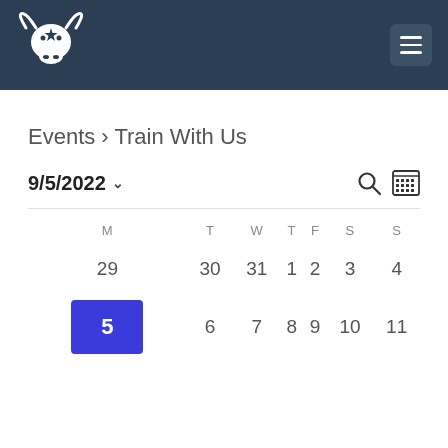[Figure (logo): White longhorn skull with star logo on dark navy background header]
Events › Train With Us
9/5/2022
| M | T | W | T | F | S | S |
| --- | --- | --- | --- | --- | --- | --- |
| 29 | 30 | 31 | 1 | 2 | 3 | 4 |
| 5 | 6 | 7 | 8 | 9 | 10 | 11 |